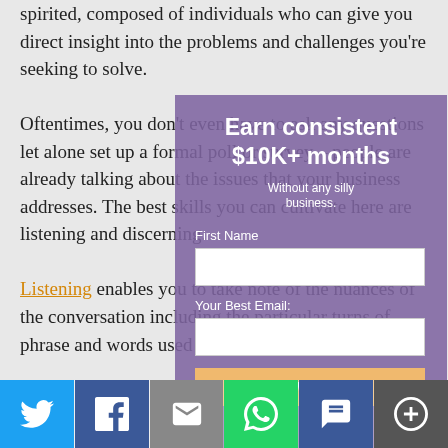spirited, composed of individuals who can give you direct insight into the problems and challenges you're seeking to solve.

Oftentimes, you don't even have to ask any questions let alone set up a formal poll or survey – people are already talking about the issues that your business addresses. The best skills you can cultivate here are listening and discerning.

Listening enables you to take note of the nuances of the conversation including the particular turns of phrase and words used by
[Figure (infographic): Purple semi-transparent modal overlay with headline 'Earn consistent $10K+ months', subtitle 'Without any silly business.', First Name input field, Your Best Email input field, and a DOWNLOAD button in orange/gold color.]